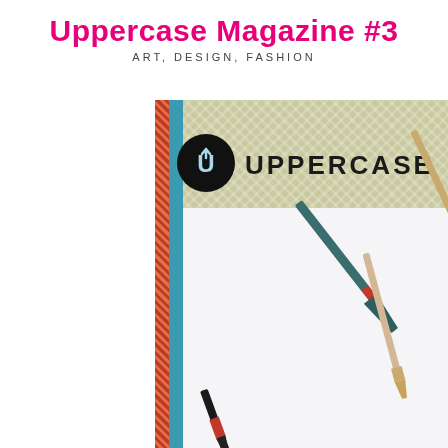Uppercase Magazine #3
ART, DESIGN, FASHION
[Figure (photo): Angled view of the cover of Uppercase Magazine issue #3. The cover shows a close-up of several artist paintbrushes fanned out against a light background. The magazine has a teal/blue spine with a red-orange woven cord accent. A herringbone-patterned olive/sage banner runs across the top with a black circle logo featuring a U with an upward arrow, and the word UPPERCASE in bold black letters.]